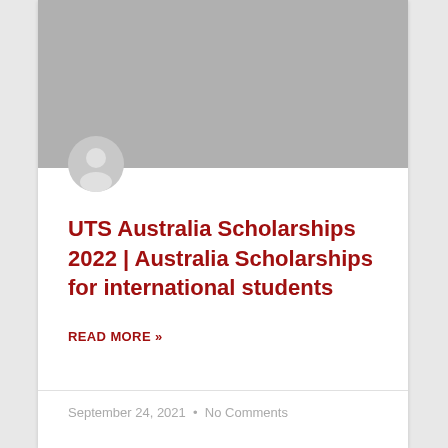[Figure (photo): Gray placeholder image banner at top of card]
[Figure (illustration): Gray avatar/user icon circle below the banner image]
UTS Australia Scholarships 2022 | Australia Scholarships for international students
READ MORE »
September 24, 2021  •  No Comments